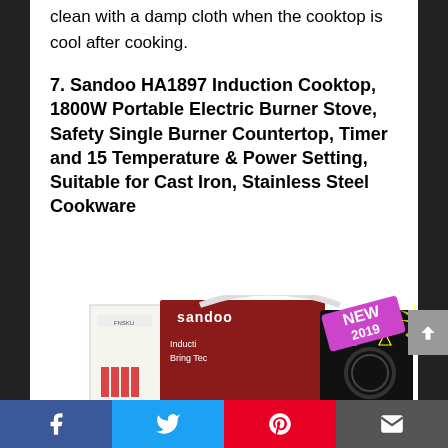clean with a damp cloth when the cooktop is cool after cooking.
7. Sandoo HA1897 Induction Cooktop, 1800W Portable Electric Burner Stove, Safety Single Burner Countertop, Timer and 15 Temperature & Power Setting, Suitable for Cast Iron, Stainless Steel Cookware
[Figure (photo): Product photo of Sandoo HA1897 Induction Cooktop box packaging and device, with a 'NEW 2019' badge in the top right corner.]
Facebook | Twitter | Pinterest | Email sharing buttons